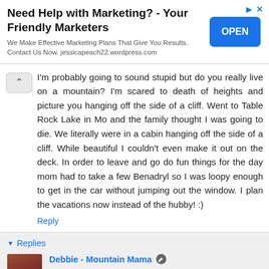[Figure (infographic): Advertisement banner: 'Need Help with Marketing? - Your Friendly Marketers' with blue OPEN button and small ad icons top right. Subtext: We Make Effective Marketing Plans That Give You Results. Contact Us Now. jessicapeach22.wordpress.com]
I'm probably going to sound stupid but do you really live on a mountain? I'm scared to death of heights and picture you hanging off the side of a cliff. Went to Table Rock Lake in Mo and the family thought I was going to die. We literally were in a cabin hanging off the side of a cliff. While beautiful I couldn't even make it out on the deck. In order to leave and go do fun things for the day mom had to take a few Benadryl so I was loopy enough to get in the car without jumping out the window. I plan the vacations now instead of the hubby! :)
Reply
Replies
Debbie - Mountain Mama March 2, 2016 at 3:40 PM
Ha ha - yes, I really do live on a mountain! But